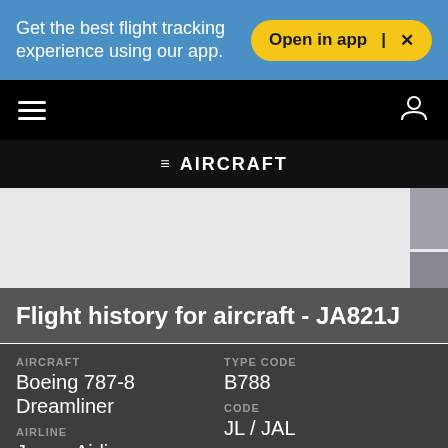Get the best flight tracking experience using our app.
Open in app  |  ✕
[Figure (screenshot): Navigation bar with hamburger menu and user icon on black background]
≡ AIRCRAFT
[Figure (map): Light gray map area with gray sidebar controls on the right]
Flight history for aircraft - JA821J
| AIRCRAFT | TYPE CODE |
| Boeing 787-8 Dreamliner | B788 |
| AIRLINE | Code |
| Japan Airlines | JL / JAL |
| OPERATOR | Code |
| Japan Airlines | JL / JAL |
|  | MODE S |
|  | 86D59C |